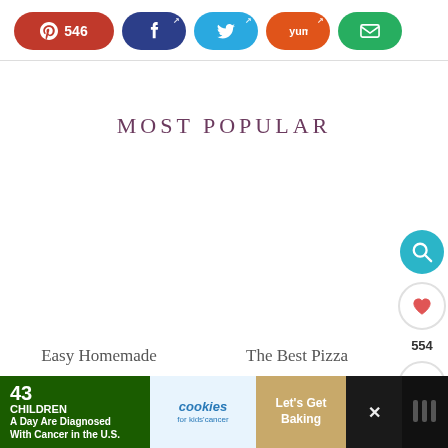[Figure (screenshot): Social share bar with Pinterest (546), Facebook, Twitter, Yummly, and Email buttons]
MOST POPULAR
Easy Homemade   The Best Pizza
[Figure (screenshot): Floating sidebar with search (teal), heart/save, share count 554, and share buttons on the right side]
[Figure (infographic): Ad banner: 43 Children A Day Are Diagnosed With Cancer in the U.S. | cookies for kids' cancer | Let's Get Baking]